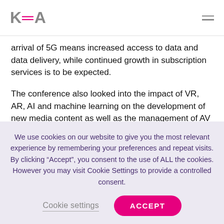KEA
arrival of 5G means increased access to data and data delivery, while continued growth in subscription services is to be expected.
The conference also looked into the impact of VR, AR, AI and machine learning on the development of new media content as well as the management of AV businesses in production, licensing and distribution through data management.
Europe should make the most of this
We use cookies on our website to give you the most relevant experience by remembering your preferences and repeat visits. By clicking “Accept”, you consent to the use of ALL the cookies. However you may visit Cookie Settings to provide a controlled consent.
Cookie settings
ACCEPT